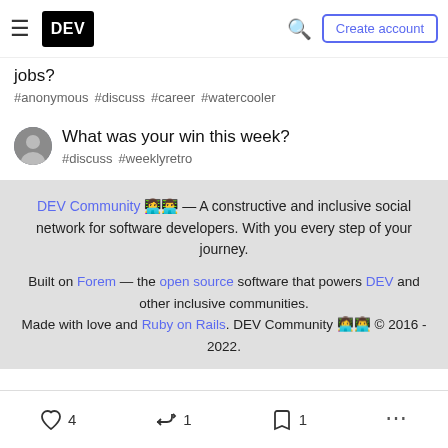DEV — Create account
jobs?
#anonymous #discuss #career #watercooler
What was your win this week?
#discuss #weeklyretro
DEV Community 👩‍💻👨‍💻 — A constructive and inclusive social network for software developers. With you every step of your journey.
Built on Forem — the open source software that powers DEV and other inclusive communities. Made with love and Ruby on Rails. DEV Community 👩‍💻👨‍💻 © 2016 - 2022.
4  1  1  ...